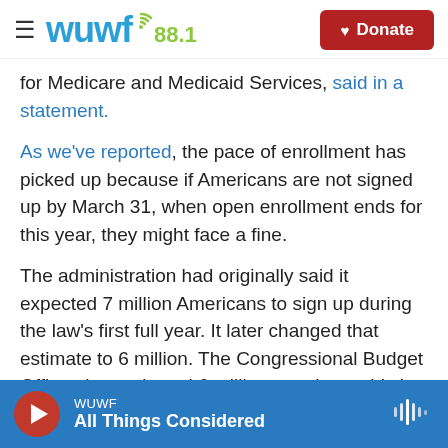WUWF 88.1 — Donate
for Medicare and Medicaid Services, said in a statement.
As we've reported, the pace of enrollment has picked up because if Americans are not signed up by March 31, when open enrollment ends for this year, they might face a fine.
The administration had originally said it expected 7 million Americans to sign up during the law's first full year. It later changed that estimate to 6 million. The Congressional Budget Office also projected 6 million people would sign up.
WUWF — All Things Considered